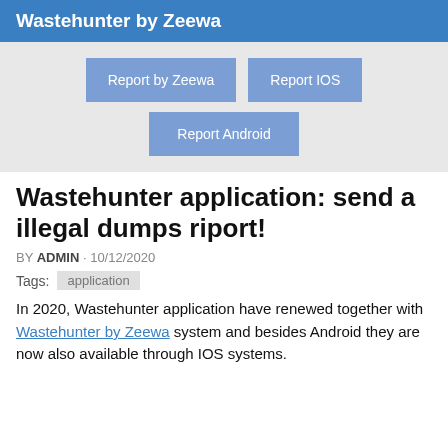Wastehunter by Zeewa
[Figure (screenshot): Three blue buttons: 'Report by Zeewa', 'Report IOS', and 'Report Android' on a light gray background]
Wastehunter application: send a illegal dumps riport!
BY ADMIN · 10/12/2020
Tags: application
In 2020, Wastehunter application have renewed together with Wastehunter by Zeewa system and besides Android they are now also available through IOS systems.